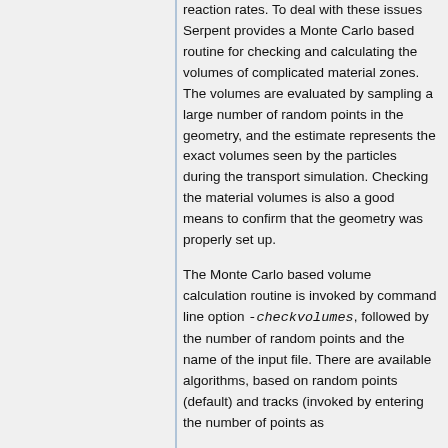reaction rates. To deal with these issues Serpent provides a Monte Carlo based routine for checking and calculating the volumes of complicated material zones. The volumes are evaluated by sampling a large number of random points in the geometry, and the estimate represents the exact volumes seen by the particles during the transport simulation. Checking the material volumes is also a good means to confirm that the geometry was properly set up.
The Monte Carlo based volume calculation routine is invoked by command line option -checkvolumes, followed by the number of random points and the name of the input file. There are available algorithms, based on random points (default) and tracks (invoked by entering the number of points as